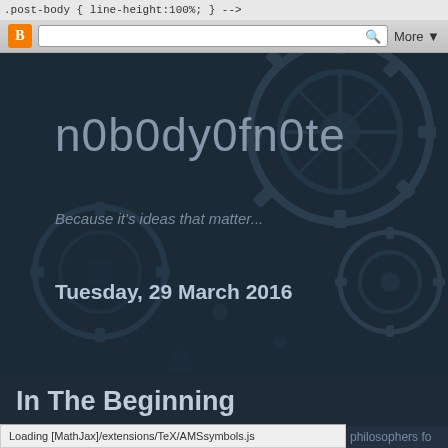.post-body { line-height:100%; } -->
[Figure (screenshot): Blogger browser chrome bar with orange Blogger icon, search bar with magnifying glass icon, and More dropdown button]
n0b0dy0fn0te
Because it's ideas that matter...
Tuesday, 29 March 2016
In The Beginning
What does it actually mean for something to begin?
Loading [MathJax]/extensions/TeX/AMSsymbols.js